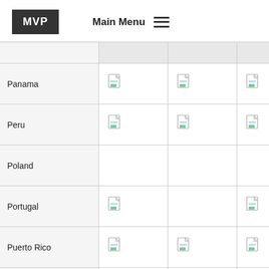MVP  Main Menu
|  |  |  |  |  |
| --- | --- | --- | --- | --- |
| Panama | [doc] | [doc] | [doc] |  |
| Peru | [doc] | [doc] | [doc] |  |
| Poland |  |  |  | [doc] |
| Portugal | [doc] |  | [doc] | [doc] |
| Puerto Rico | [doc] | [doc] | [doc] |  |
| Russia |  | [doc] |  |  |
| Singapore |  |  |  | [doc] |
| Slovenia | [doc] | [doc] | [doc] |  |